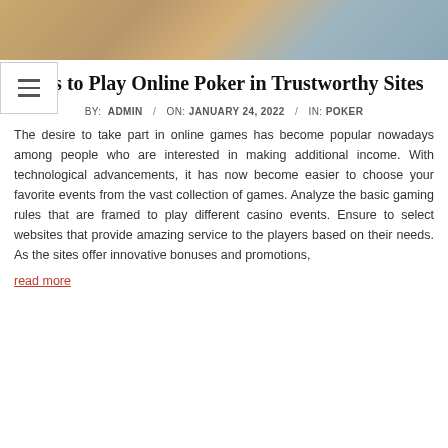[Figure (photo): Top portion of a decorative image showing brown/tan and gray textured surfaces, likely poker-related background.]
Tips to Play Online Poker in Trustworthy Sites
BY:  ADMIN  /  ON: JANUARY 24, 2022  /  IN: POKER
The desire to take part in online games has become popular nowadays among people who are interested in making additional income. With technological advancements, it has now become easier to choose your favorite events from the vast collection of games. Analyze the basic gaming rules that are framed to play different casino events. Ensure to select websites that provide amazing service to the players based on their needs. As the sites offer innovative bonuses and promotions,
read more